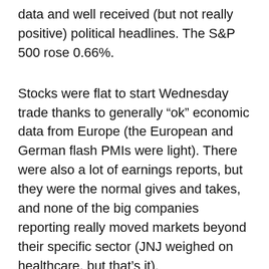data and well received (but not really positive) political headlines. The S&P 500 rose 0.66%.
Stocks were flat to start Wednesday trade thanks to generally “ok” economic data from Europe (the European and German flash PMIs were light). There were also a lot of earnings reports, but they were the normal gives and takes, and none of the big companies reporting really moved markets beyond their specific sector (JNJ weighed on healthcare, but that’s it).
After the flat open, stocks started moving higher